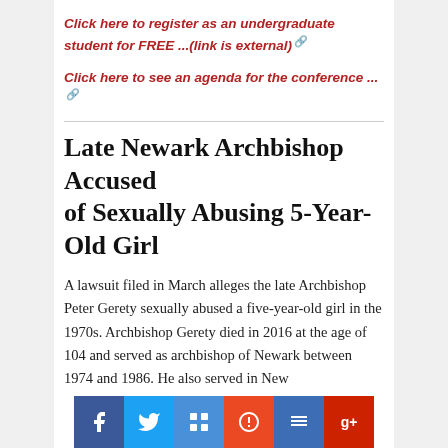Click here to register as an undergraduate student for FREE ...(link is external)
Click here to see an agenda for the conference ... (link is external)
Late Newark Archbishop Accused of Sexually Abusing 5-Year-Old Girl
A lawsuit filed in March alleges the late Archbishop Peter Gerety sexually abused a five-year-old girl in the 1970s. Archbishop Gerety died in 2016 at the age of 104 and served as archbishop of Newark between 1974 and 1986. He also served in New
[Figure (other): Social media sharing bar with Facebook, Twitter, Stumbleupon, Su, Delicious, and Google+ buttons]